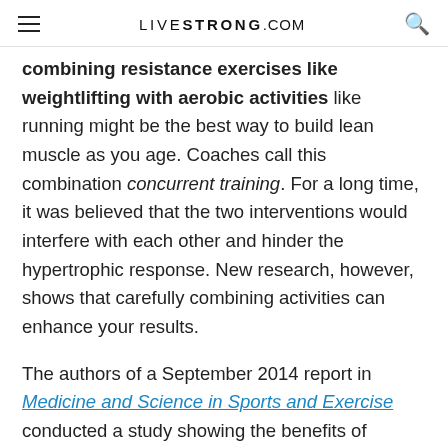LIVESTRONG.COM
combining resistance exercises like weightlifting with aerobic activities like running might be the best way to build lean muscle as you age. Coaches call this combination concurrent training. For a long time, it was believed that the two interventions would interfere with each other and hinder the hypertrophic response. New research, however, shows that carefully combining activities can enhance your results.
The authors of a September 2014 report in Medicine and Science in Sports and Exercise conducted a study showing the benefits of combining aerobic exercise and strength training. Some subjects did aerobic exercise and then strength training, while others did strength training and then aerobic exercise.